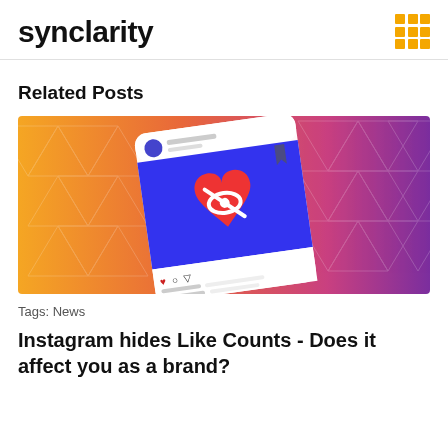synclarity
Related Posts
[Figure (screenshot): Illustration of an Instagram post on a smartphone screen showing a heart with an eye-slash icon (hidden likes theme), on a gradient orange-to-purple background with geometric triangle patterns]
Tags: News
Instagram hides Like Counts - Does it affect you as a brand?